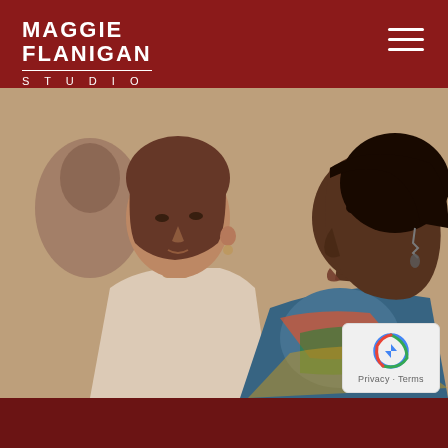Maggie Flanigan Studio
[Figure (photo): Two women in profile view seated side by side. Left: a white woman with short brown hair wearing a white sleeveless top. Right: a Black woman wearing a colorful patterned top with an earring. Background is blurred, suggesting a studio or classroom setting.]
[Figure (logo): reCAPTCHA badge with Google logo and 'Privacy · Terms' text]